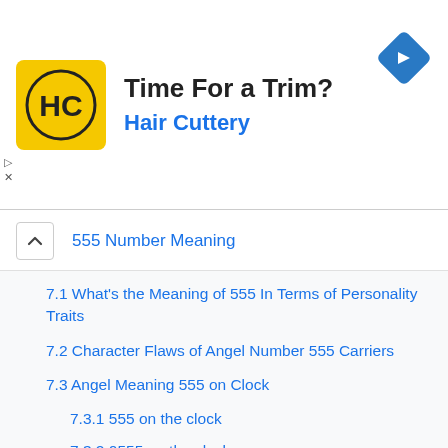[Figure (logo): Hair Cuttery advertisement banner with HC logo, headline 'Time For a Trim?', subtext 'Hair Cuttery', and a blue navigation arrow icon]
555 Number Meaning
7.1 What’s the Meaning of 555 In Terms of Personality Traits
7.2 Character Flaws of Angel Number 555 Carriers
7.3 Angel Meaning 555 on Clock
7.3.1 555 on the clock
7.3.2 0555 on the clock
7.3.3 1555 on the clock
7.4 Relationship Angel Number Meaning of 555
7.5 What Is the Meaning of Angel Number 555 in Work and Creativity?
7.6 What 555 Means in Finance and Business